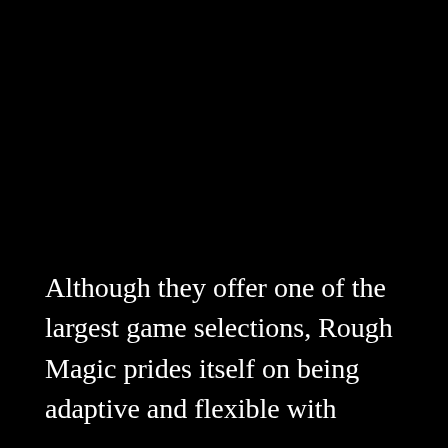Although they offer one of the largest game selections, Rough Magic prides itself on being adaptive and flexible with